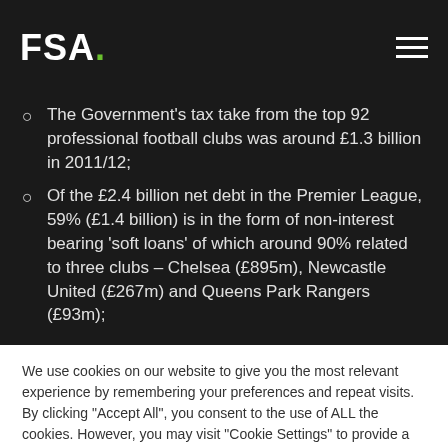FSA.
The Government's tax take from the top 92 professional football clubs was around £1.3 billion in 2011/12;
Of the £2.4 billion net debt in the Premier League, 59% (£1.4 billion) is in the form of non-interest bearing 'soft loans' of which around 90% related to three clubs – Chelsea (£895m), Newcastle United (£267m) and Queens Park Rangers (£93m);
We use cookies on our website to give you the most relevant experience by remembering your preferences and repeat visits. By clicking "Accept All", you consent to the use of ALL the cookies. However, you may visit "Cookie Settings" to provide a controlled consent.
Cookie Settings | Accept All